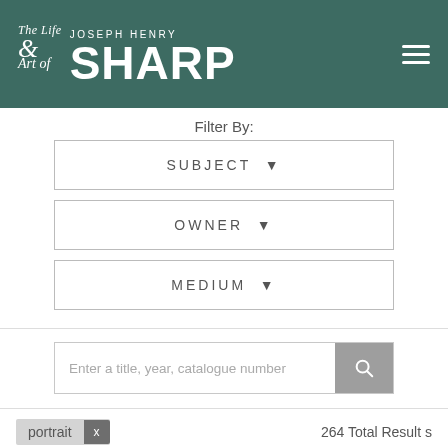[Figure (logo): The Life & Art of Joseph Henry Sharp website header logo on dark teal/green background with hamburger menu icon]
Filter By:
SUBJECT ▼
OWNER ▼
MEDIUM ▼
Enter a title, year, catalogue number
portrait x       264 Total Result s